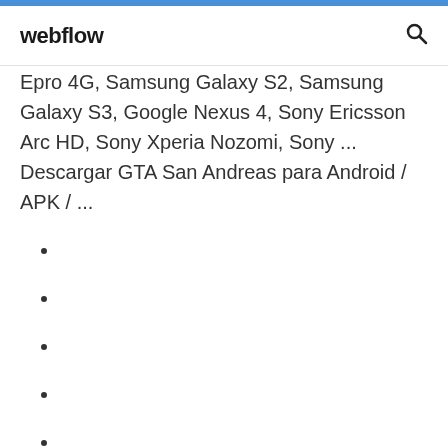webflow
Epro 4G, Samsung Galaxy S2, Samsung Galaxy S3, Google Nexus 4, Sony Ericsson Arc HD, Sony Xperia Nozomi, Sony ... Descargar GTA San Andreas para Android / APK / ...